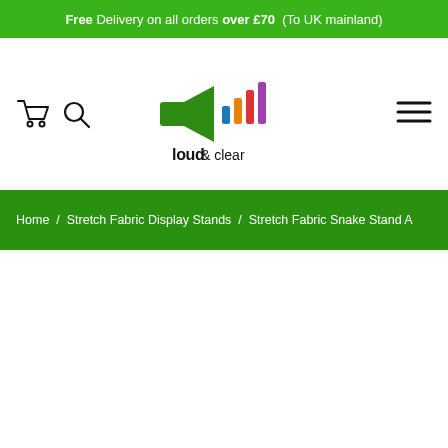Free Delivery on all orders over £70 (To UK mainland)
[Figure (logo): Loud & Clear Graphics logo with megaphone icon and coloured bar chart elements]
Home / Stretch Fabric Display Stands / Stretch Fabric Snake Stand A